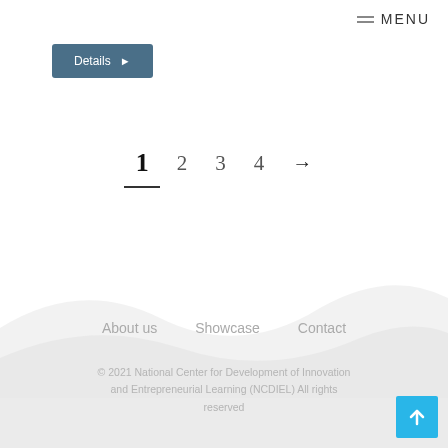MENU
Details ▶
1  2  3  4  →
About us   Showcase   Contact
© 2021 National Center for Development of Innovation and Entrepreneurial Learning (NCDIEL) All rights reserved